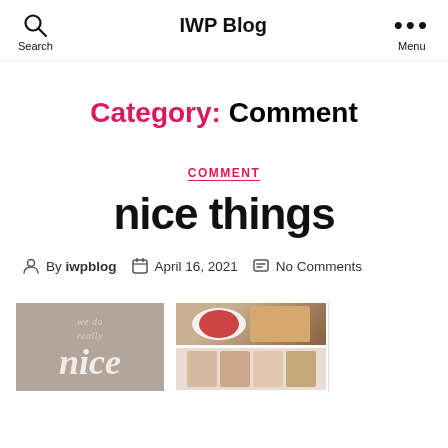IWP Blog | Search | Menu
Category: Comment
COMMENT
nice things
By iwpblog | April 16, 2021 | No Comments
[Figure (photo): Three partially visible images at bottom: a taupe book cover with text 'we do really nice', a food/dessert photo collage, and stacked product packages]